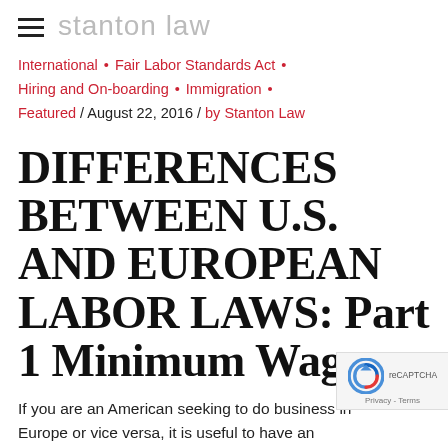stanton law
International • Fair Labor Standards Act • Hiring and On-boarding • Immigration • Featured / August 22, 2016 / by Stanton Law
DIFFERENCES BETWEEN U.S. AND EUROPEAN LABOR LAWS: Part 1 Minimum Wage
If you are an American seeking to do business in Europe or vice versa, it is useful to have an overview of the cultural and legal differences between the two cont... to understand how these impact the respective work